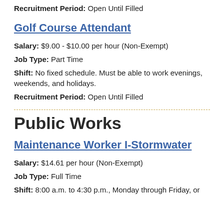Recruitment Period: Open Until Filled
Golf Course Attendant
Salary: $9.00 - $10.00 per hour (Non-Exempt)
Job Type: Part Time
Shift: No fixed schedule. Must be able to work evenings, weekends, and holidays.
Recruitment Period: Open Until Filled
Public Works
Maintenance Worker I-Stormwater
Salary: $14.61 per hour (Non-Exempt)
Job Type: Full Time
Shift: 8:00 a.m. to 4:30 p.m., Monday through Friday, or